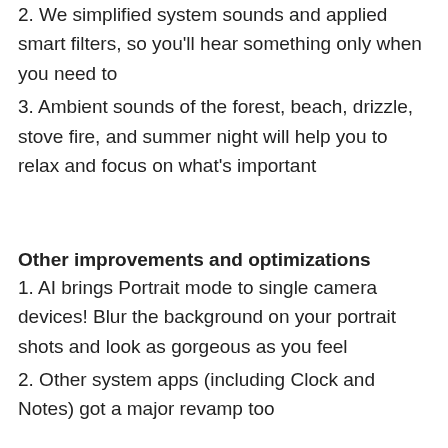2. We simplified system sounds and applied smart filters, so you'll hear something only when you need to
3. Ambient sounds of the forest, beach, drizzle, stove fire, and summer night will help you to relax and focus on what's important
Other improvements and optimizations
1. AI brings Portrait mode to single camera devices! Blur the background on your portrait shots and look as gorgeous as you feel
2. Other system apps (including Clock and Notes) got a major revamp too